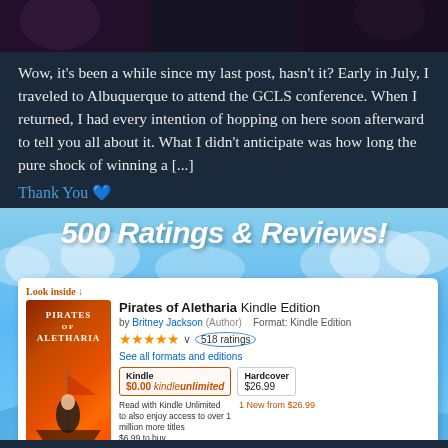[Figure (photo): Dark top banner image with partial figures/background]
Wow, it's been a while since my last post, hasn't it? Early in July, I traveled to Albuquerque to attend the GCLS conference. When I returned, I had every intention of hopping on here soon afterward to tell you all about it. What I didn't anticipate was how long the pure shock of winning a [...]
Thank You 💙
[Figure (infographic): 500 Ratings & Reviews promotional banner with sky/clouds background, featuring an Amazon product listing screenshot for 'Pirates of Aletharia Kindle Edition' by Britney Jackson showing 518 ratings, $0.00 Kindle Unlimited pricing, and a cartoon cat illustration.]